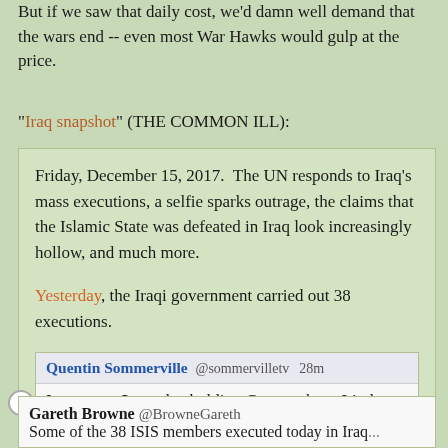But if we saw that daily cost, we'd damn well demand that the wars end -- even most War Hawks would gulp at the price.
"Iraq snapshot" (THE COMMON ILL):
Friday, December 15, 2017.  The UN responds to Iraq's mass executions, a selfie sparks outrage, the claims that the Islamic State was defeated in Iraq look increasingly hollow, and much more.
Yesterday, the Iraqi government carried out 38 executions.
Quentin Sommerville @sommervilletv 28m
Important. Iraq also holding German-born Linda Wenzel.
Gareth Browne @BrowneGareth
Some of the 38 ISIS members executed today in Iraq...